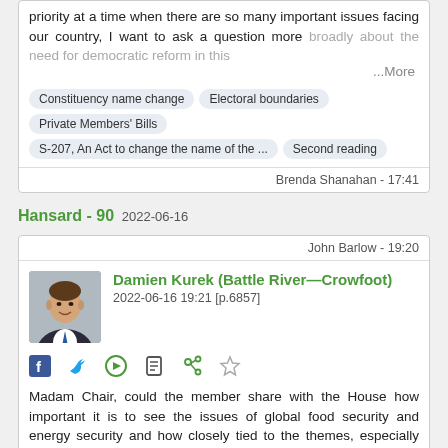priority at a time when there are so many important issues facing our country, I want to ask a question more broadly about the need for democratic reform in this
...More
Constituency name change
Electoral boundaries
Private Members' Bills
S-207, An Act to change the name of the ...
Second reading
Brenda Shanahan - 17:41
Hansard - 90  2022-06-16
John Barlow - 19:20
Damien Kurek (Battle River—Crowfoot)
2022-06-16 19:21 [p.6857]
Madam Chair, could the member share with the House how important it is to see the issues of global food security and energy security and how closely tied to the themes, especially the one, Canada should